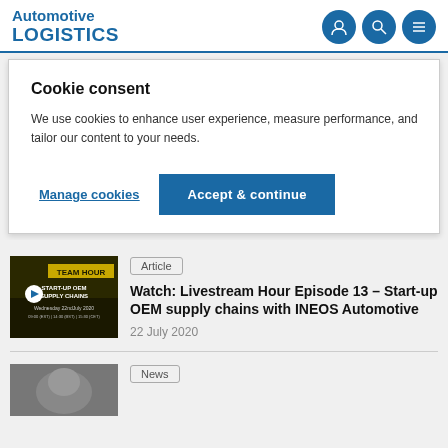Automotive LOGISTICS
Cookie consent
We use cookies to enhance user experience, measure performance, and tailor our content to your needs.
Manage cookies | Accept & continue
[Figure (screenshot): Thumbnail image for Livestream Hour Episode 13 showing TEAM HOUR / START-UP OEM SUPPLY CHAINS on dark background]
Article
Watch: Livestream Hour Episode 13 – Start-up OEM supply chains with INEOS Automotive
22 July 2020
News